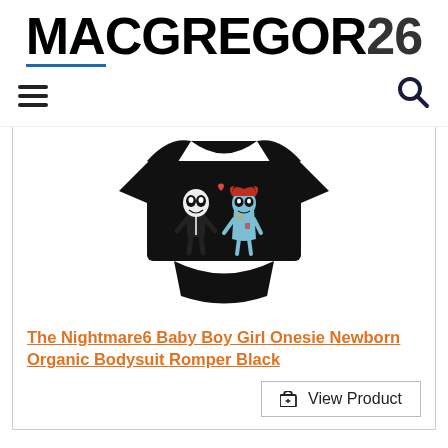[Figure (logo): MACGREGOR26 logo in large black bold uppercase text with a blue underline beneath 'MACGREGOR']
[Figure (other): Hamburger menu icon (three horizontal lines) on left and magnifying glass search icon on right]
[Figure (photo): Black baby onesie/bodysuit with cartoon Nightmare Before Christmas characters Jack and Sally printed on the front]
The Nightmare6 Baby Boy Girl Onesie Newborn Organic Bodysuit Romper Black
View Product